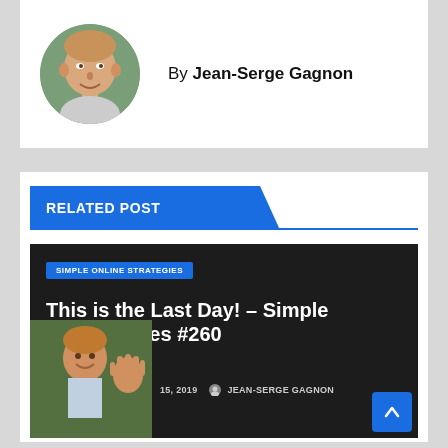By Jean-Serge Gagnon
[Figure (photo): Circular headshot photo of Jean-Serge Gagnon, a man with short light hair, smiling]
RELATED POST
[Figure (photo): Dark blog post card thumbnail with category tag 'SIMPLE ONLINE STRATEGIES', title 'This is the Last Day! – Simple ne Strategies #260', date '15, 2019', author 'JEAN-SERGE GAGNON', and small avatar photo of a man waving]
SIMPLE ONLINE STRATEGIES
This is the Last Day! – Simple ne Strategies #260
15, 2019   JEAN-SERGE GAGNON